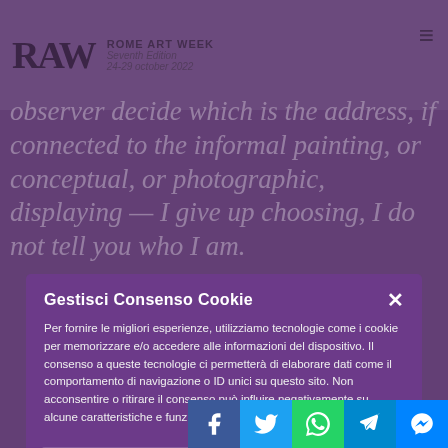ROME ART WEEK Seventh Edition 24-29 october 2022
observer decide which is the address, if connected to the informal painting, or conceptual, or photographic, displaying — I give up choosing, I do not tell you who I am.
Gestisci Consenso Cookie
Per fornire le migliori esperienze, utilizziamo tecnologie come i cookie per memorizzare e/o accedere alle informazioni del dispositivo. Il consenso a queste tecnologie ci permetterà di elaborare dati come il comportamento di navigazione o ID unici su questo sito. Non acconsentire o ritirare il consenso può influire negativamente su alcune caratteristiche e funzioni.
Accetta
Nega
Cookie Policy   Privacy Policy